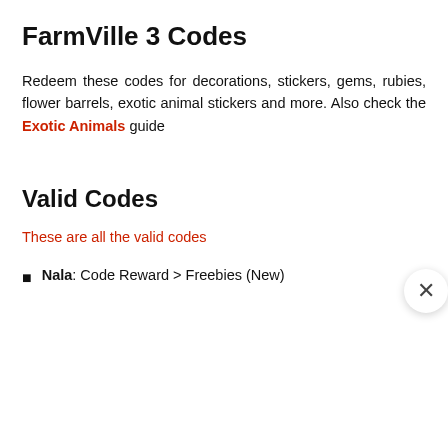FarmVille 3 Codes
Redeem these codes for decorations, stickers, gems, rubies, flower barrels, exotic animal stickers and more. Also check the Exotic Animals guide
Valid Codes
These are all the valid codes
Nala: Code Reward > Freebies (New)